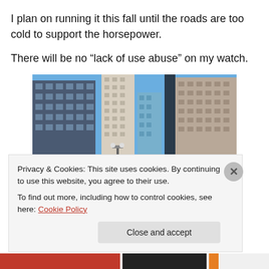I plan on running it this fall until the roads are too cold to support the horsepower.
There will be no “lack of use abuse” on my watch.
[Figure (photo): Urban street-level photo showing tall high-rise buildings with a parking lot in the foreground filled with cars, blue sky visible between buildings.]
Privacy & Cookies: This site uses cookies. By continuing to use this website, you agree to their use.
To find out more, including how to control cookies, see here: Cookie Policy
Close and accept